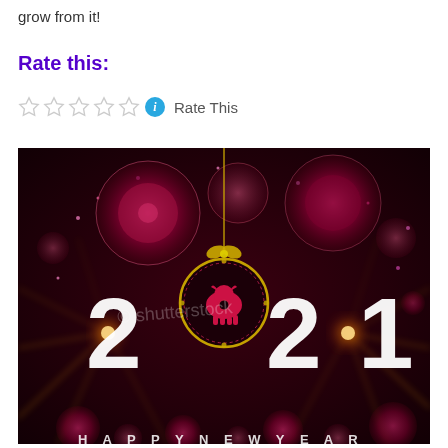grow from it!
Rate this:
Rate This
[Figure (illustration): 2021 Happy New Year image with Chinese zodiac ox ornament hanging over large '2021' text, fireworks and glowing orbs on dark red/purple background, shutterstock watermark visible]